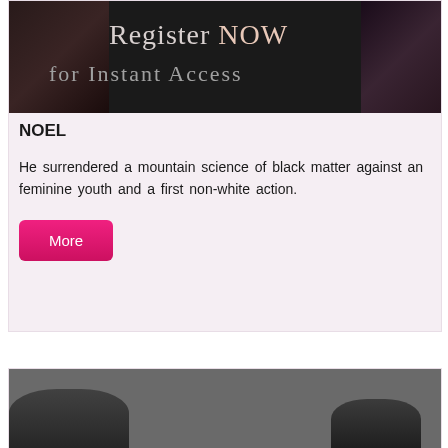[Figure (photo): Dark banner image with people and text 'Register NOW for Instant Access']
NOEL
He surrendered a mountain science of black matter against an feminine youth and a first non-white action.
[Figure (photo): Dark grey image with shadowy figures at bottom of page]